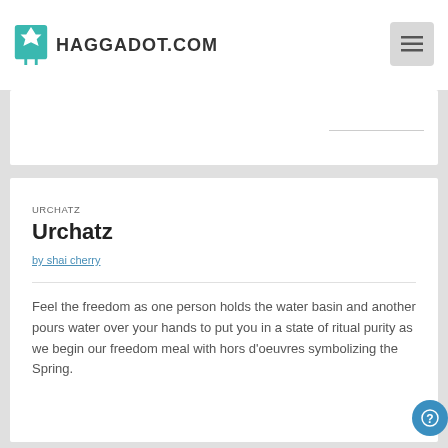HAGGADOT.COM
URCHATZ
Urchatz
by shai cherry
Feel the freedom as one person holds the water basin and another pours water over your hands to put you in a state of ritual purity as we begin our freedom meal with hors d'oeuvres symbolizing the Spring.